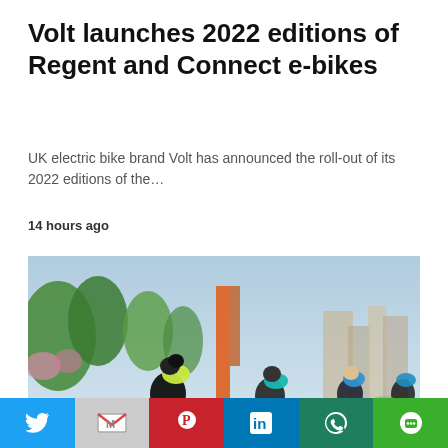Volt launches 2022 editions of Regent and Connect e-bikes
UK electric bike brand Volt has announced the roll-out of its 2022 editions of the…
14 hours ago
[Figure (photo): Digital rendering of cyclists racing on bikes in a virtual environment with trees and buildings in background]
COMMUNITY
[Figure (other): Social share bar with Twitter, Gmail, Pinterest, LinkedIn, WhatsApp, and Line buttons]